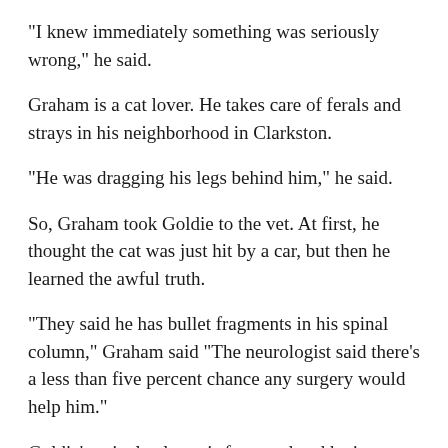"I knew immediately something was seriously wrong," he said.
Graham is a cat lover. He takes care of ferals and strays in his neighborhood in Clarkston.
"He was dragging his legs behind him," he said.
So, Graham took Goldie to the vet. At first, he thought the cat was just hit by a car, but then he learned the awful truth.
"They said he has bullet fragments in his spinal column," Graham said "The neurologist said there’s a less than five percent chance any surgery would help him."
Goldie’s spinal column is fractured and he is paralyzed.